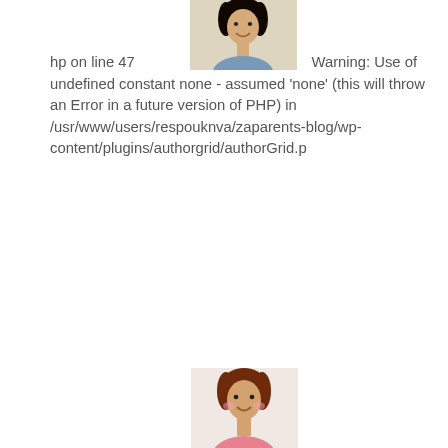[Figure (photo): Small profile photo of a woman with dark hair, shown at the top center of the first text block]
hp on line 47 Warning: Use of undefined constant none - assumed 'none' (this will throw an Error in a future version of PHP) in /usr/www/users/respouknva/zaparents-blog/wp-content/plugins/authorgrid/authorGrid.p
[Figure (photo): Small profile photo of a woman with short brown hair and pink top, shown between the second warning blocks]
hp on line 47 Warning: Use of undefined constant none - assumed 'none' (this will throw an Error in a future version of PHP) in /usr/www/users/respouknva/zaparents-blog/wp-content/plugins/authorgrid/authorGrid.p
[Figure (photo): Small profile photo of a woman with child/baby, shown between the third warning blocks]
hp on line 47 Warning: Use of undefined constant none - assumed 'none' (this will throw an Error in a future version of PHP) in /usr/www/users/respouknva/zaparents-blog/wp-content/plugins/authorgrid/authorGrid.p